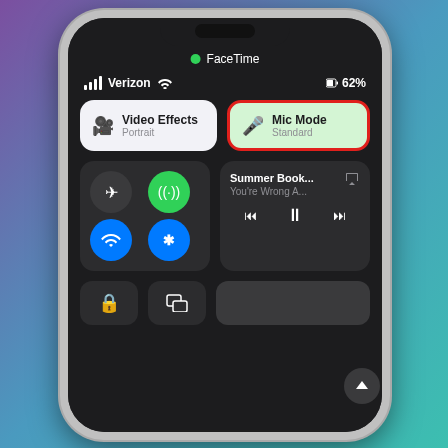[Figure (screenshot): iPhone screenshot showing iOS Control Center with FaceTime active (green dot indicator), Verizon carrier with 62% battery, Video Effects button showing Portrait mode, Mic Mode button highlighted with red border showing Standard mode, connectivity toggles (airplane mode, WiFi/cellular green, WiFi blue, Bluetooth blue), a media player showing 'Summer Book... You're Wrong A...' with playback controls, and bottom row with screen lock rotation and screen mirroring buttons.]